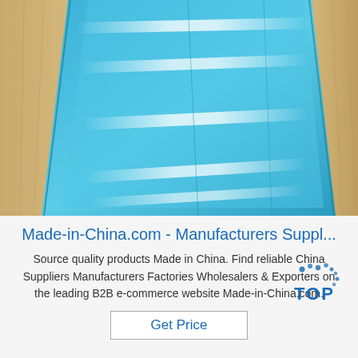[Figure (photo): Photo of blue-coated aluminum sheets stacked and wrapped in brown kraft paper, with reflective light streaks across the surface.]
Made-in-China.com - Manufacturers Suppl...
Source quality products Made in China. Find reliable China Suppliers Manufacturers Factories Wholesalers & Exporters on the leading B2B e-commerce website Made-in-China.com.
[Figure (logo): TOP logo with blue dots above and the word TOP in blue text.]
Get Price